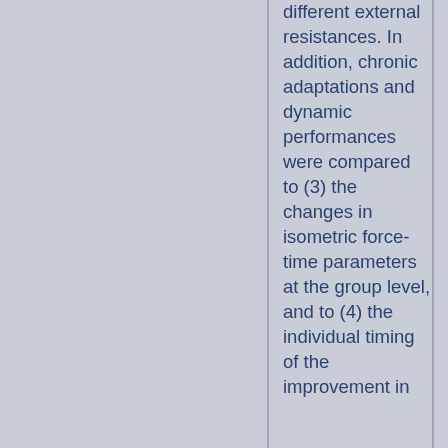different external resistances. In addition, chronic adaptations and dynamic performances were compared to (3) the changes in isometric force-time parameters at the group level, and to (4) the individual timing of the improvement in